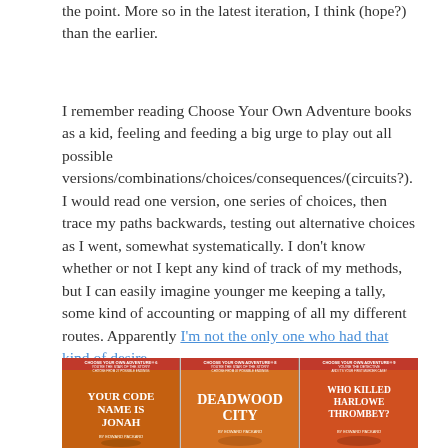the point. More so in the latest iteration, I think (hope?) than the earlier.
I remember reading Choose Your Own Adventure books as a kid, feeling and feeding a big urge to play out all possible versions/combinations/choices/consequences/(circuits?). I would read one version, one series of choices, then trace my paths backwards, testing out alternative choices as I went, somewhat systematically. I don't know whether or not I kept any kind of track of my methods, but I can easily imagine younger me keeping a tally, some kind of accounting or mapping of all my different routes. Apparently I'm not the only one who had that kind of desire.
[Figure (photo): Three Choose Your Own Adventure book covers side by side: 'Your Code Name Is Jonah', 'Deadwood City', and 'Who Killed Harlowe Thrombey?' all by Edward Packard.]